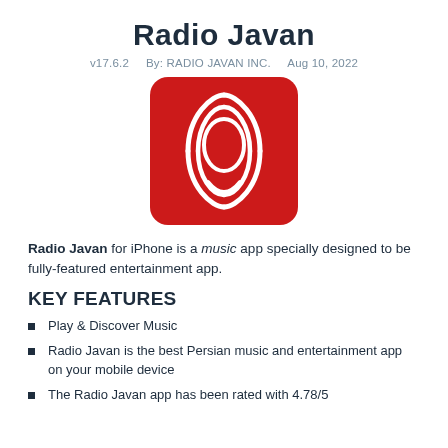Radio Javan
v17.6.2    By: RADIO JAVAN INC.    Aug 10, 2022
[Figure (logo): Radio Javan app icon: red square background with white oval/headphone-like logo design]
Radio Javan for iPhone is a music app specially designed to be fully-featured entertainment app.
KEY FEATURES
Play & Discover Music
Radio Javan is the best Persian music and entertainment app on your mobile device
The Radio Javan app has been rated with 4.78/5